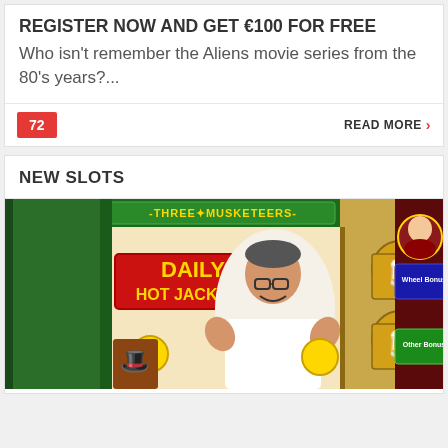REGISTER NOW AND GET €100 FOR FREE
Who isn't remember the Aliens movie series from the 80's years?...
72
READ MORE ›
NEW SLOTS
[Figure (photo): Three Musketeers slot machine game screenshot showing 'DAILY HOT JACKPOT' banner with a celebrating man and various slot symbols including beer mugs and musketeer characters]